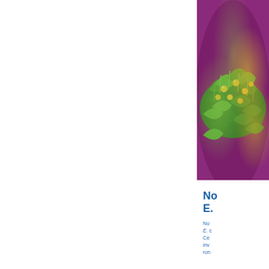[Figure (photo): A photograph of a plate of food with green leafy vegetables (appears to be a salad or herb dish) with yellow/golden round items, against a purple/magenta background plate or tablecloth]
No E.
No E. Ce inv ron